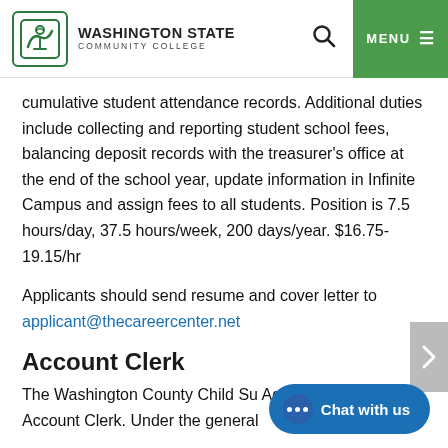Washington State Community College
cumulative student attendance records. Additional duties include collecting and reporting student school fees, balancing deposit records with the treasurer's office at the end of the school year, update information in Infinite Campus and assign fees to all students. Position is 7.5 hours/day, 37.5 hours/week, 200 days/year. $16.75-19.15/hr
Applicants should send resume and cover letter to applicant@thecareercenter.net
Account Clerk
The Washington County Child Su... Agency is seeking an Account Clerk. Under the general